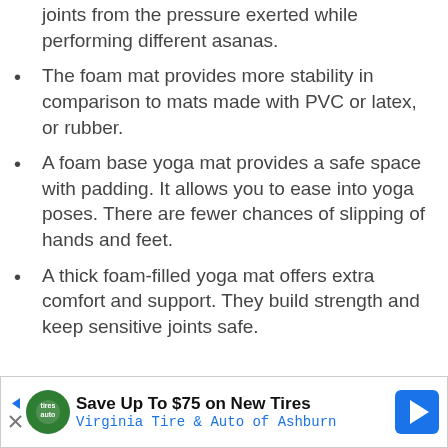joints from the pressure exerted while performing different asanas.
The foam mat provides more stability in comparison to mats made with PVC or latex, or rubber.
A foam base yoga mat provides a safe space with padding. It allows you to ease into yoga poses. There are fewer chances of slipping of hands and feet.
A thick foam-filled yoga mat offers extra comfort and support. They build strength and keep sensitive joints safe.
[Figure (infographic): Advertisement banner: Save Up To $75 on New Tires – Virginia Tire & Auto of Ashburn, with tire logo and navigation arrow icon]